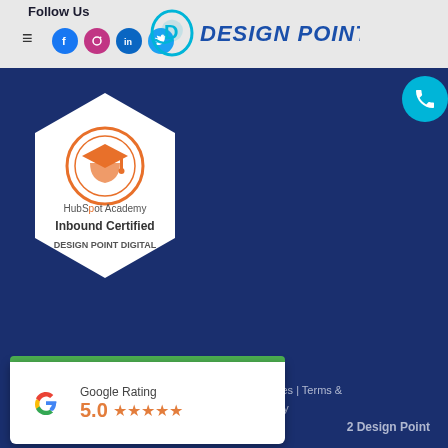Follow Us
[Figure (logo): Design Point logo with blue circular D icon and DESIGN POINT text in blue]
[Figure (illustration): HubSpot Academy Inbound Certified badge for Design Point Digital on dark blue background]
Web Design Sydney | Media Releases | Terms & Conditions | Privacy Policy
2 Design Point
[Figure (infographic): Google Rating card showing 5.0 stars with Google G logo]